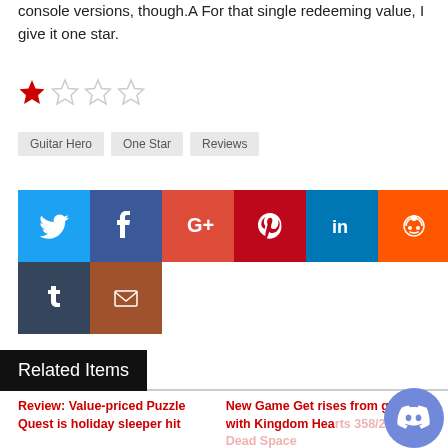console versions, though.A  For that single redeeming value, I give it one star.
[Figure (other): Star rating showing 1 out of 4 stars, with one red filled star and three empty stars]
Guitar Hero
One Star
Reviews
[Figure (other): Social sharing icons: Twitter (blue), Facebook (dark blue), Google+ (red-orange), Pinterest (dark red), LinkedIn (teal blue), Reddit (orange), Tumblr (dark blue-gray), Email (brown)]
Related Items
Review: Value-priced Puzzle Quest is holiday sleeper hit
New Game Get rises from grave with Kingdom Hearts 358/2 Days, Dead Space